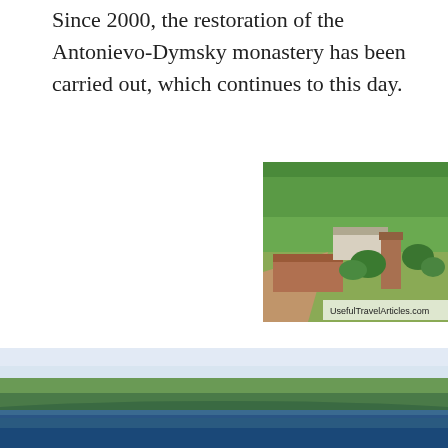Since 2000, the restoration of the Antonievo-Dymsky monastery has been carried out, which continues to this day.
[Figure (photo): Aerial view of the Antonievo-Dymsky monastery grounds surrounded by dense green forest, showing historic stone buildings including a ruined tower, with a dirt road leading through the grounds. Watermark reads UsefulTravelArticles.com]
[Figure (photo): Aerial photograph showing a wide river or lake with forested banks under a pale blue sky, landscape view with green forests meeting the blue water]